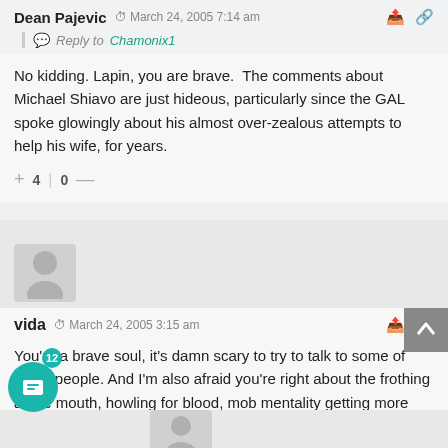Dean Pajevic  March 24, 2005 7:14 am
Reply to Chamonix1
No kidding. Lapin, you are brave.  The comments about Michael Shiavo are just hideous, particularly since the GAL spoke glowingly about his almost over-zealous attempts to help his wife, for years.
+ 4 | 0 —
vida  March 24, 2005 3:15 am
You're a brave soul, it's damn scary to try to talk to some of these people. And I'm also afraid you're right about the frothing at the mouth, howling for blood, mob mentality getting more and more obvious. Or actually growing, I'm not sure which.
+ 2 | 0 —